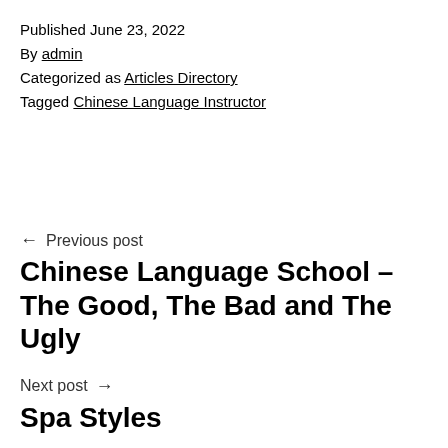Published June 23, 2022
By admin
Categorized as Articles Directory
Tagged Chinese Language Instructor
← Previous post
Chinese Language School – The Good, The Bad and The Ugly
Next post →
Spa Styles